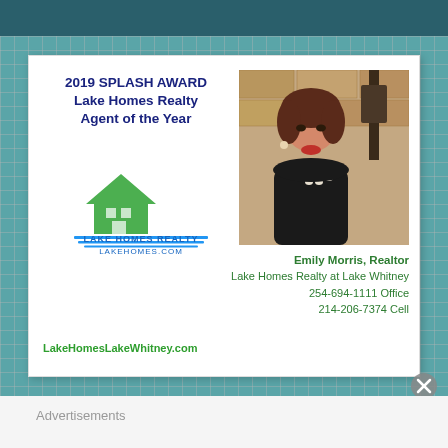[Figure (illustration): Advertisement card for Lake Homes Realty featuring 2019 Splash Award Agent of the Year text, Lake Homes Realty logo, photo of Emily Morris Realtor, contact info including 254-694-1111 Office, 214-206-7374 Cell, and website LakeHomesLakeWhitney.com]
Advertisements